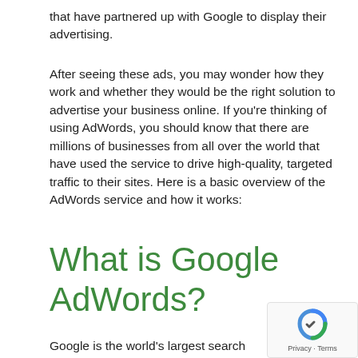that have partnered up with Google to display their advertising.
After seeing these ads, you may wonder how they work and whether they would be the right solution to advertise your business online. If you’re thinking of using AdWords, you should know that there are millions of businesses from all over the world that have used the service to drive high-quality, targeted traffic to their sites. Here is a basic overview of the AdWords service and how it works:
What is Google AdWords?
Google is the world’s largest search